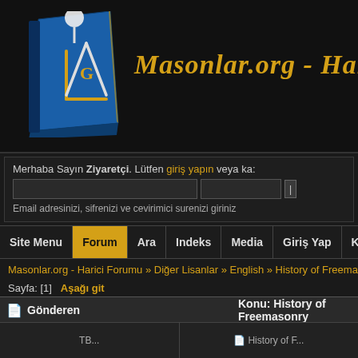[Figure (logo): Masonlar.org website header banner with Masonic square and compass logo on blue book, gold italic text reading 'Masonlar.org - Harici F']
Merhaba Sayın Ziyaretçi. Lütfen giriş yapın veya ka:
Email adresinizi, sifrenizi ve cevirimici surenizi giriniz
Site Menu | Forum | Ara | Indeks | Media | Giriş Yap | Kayıt Ol
Masonlar.org - Harici Forumu » Diğer Lisanlar » English » History of Freemasonry » Histo
Sayfa: [1]  Aşağı git
Gönderen    Konu: History of Freemasonry
0 Üye ve 1 Ziyaretçi konuyu incelemekte.
Mart 01, 2009, 09:01:49 öö